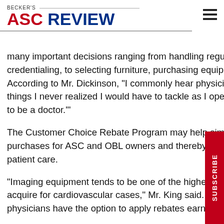BECKER'S ASC REVIEW
many important decisions ranging from handling regulatory licensing and credentialing, to selecting furniture, purchasing equipment and supplies, and more. According to Mr. Dickinson, "I commonly hear physicians say, 'There are so many things I never realized I would have to tackle as I open my own company. I just want to be a doctor.'"
The Customer Choice Rebate Program may help simplify capital equipment purchases for ASC and OBL owners and thereby allow them to dedicate more time to patient care.
"Imaging equipment tends to be one of the higher cost items that ASCs need to acquire for cardiovascular cases," Mr. King said. "With the rebate program, physicians have the option to apply rebates earned on purchases from a